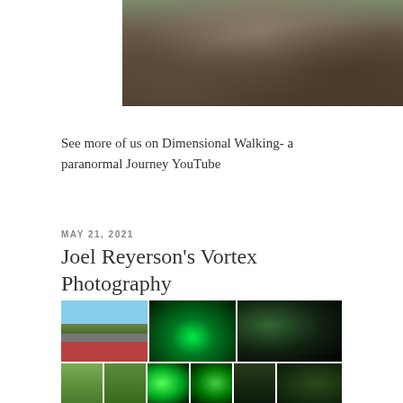[Figure (photo): Outdoor nature scene showing rocky ground with tree roots, dirt path, and green foliage at top — appears to be a forest floor or hiking trail area]
See more of us on Dimensional Walking- a paranormal Journey YouTube
MAY 21, 2021
Joel Reyerson’s Vortex Photography
[Figure (photo): Collage of multiple photographs: top-left shows a road with autumn trees and blue sky viewed from inside a car; center shows a green glowing otherworldly scene; top-right shows dark trees; bottom row shows smaller thumbnails of trees, green orbs/lights, and dark forest scenes]